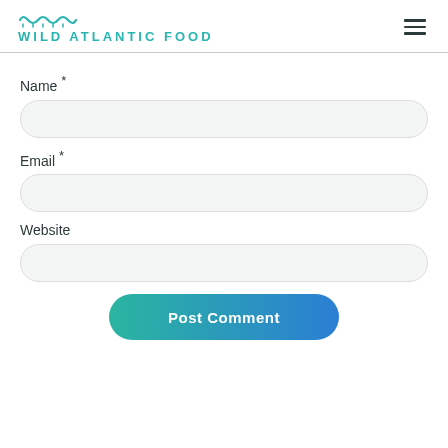WILD ATLANTIC FOOD
Name *
Email *
Website
Post Comment